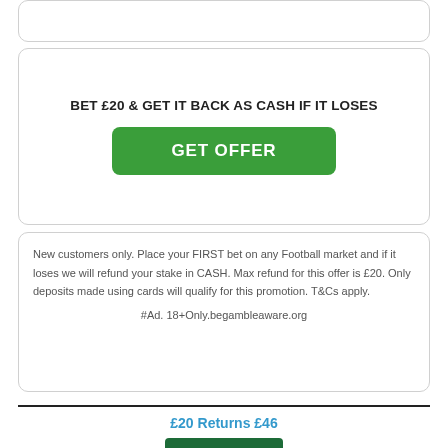BET £20 & GET IT BACK AS CASH IF IT LOSES
GET OFFER
New customers only. Place your FIRST bet on any Football market and if it loses we will refund your stake in CASH. Max refund for this offer is £20. Only deposits made using cards will qualify for this promotion. T&Cs apply.
#Ad. 18+Only.begambleaware.org
£20 Returns £46
[Figure (logo): bet365 logo — white text 'bet' and yellow '365' on dark green background]